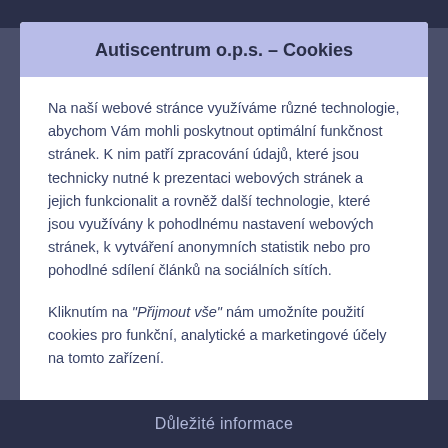Autiscentrum o.p.s. – Cookies
Na naší webové stránce využíváme různé technologie, abychom Vám mohli poskytnout optimální funkčnost stránek. K nim patří zpracování údajů, které jsou technicky nutné k prezentaci webových stránek a jejich funkcionalit a rovněž další technologie, které jsou využívány k pohodlnému nastavení webových stránek, k vytváření anonymních statistik nebo pro pohodlné sdílení článků na sociálních sítích.
Kliknutím na "Přijmout vše" nám umožníte použití cookies pro funkční, analytické a marketingové účely na tomto zařízení.
Důležité informace